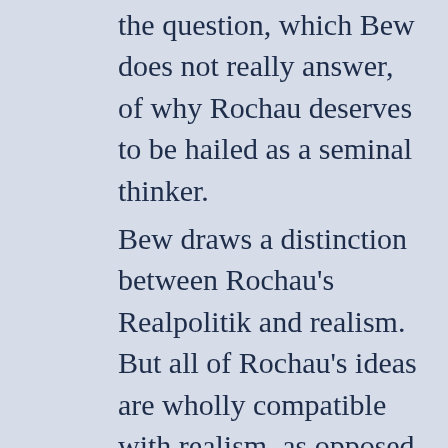the question, which Bew does not really answer, of why Rochau deserves to be hailed as a seminal thinker.
Bew draws a distinction between Rochau's Realpolitik and realism. But all of Rochau's ideas are wholly compatible with realism, as opposed to neorealism in the fashion of Kenneth Waltz and John Mearsheimer, a point boldly